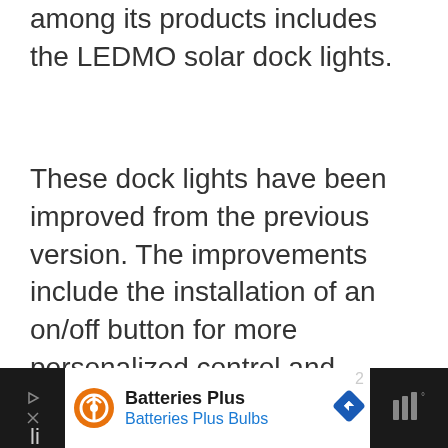mostly associated with quality and among its products includes the LEDMO solar dock lights.
These dock lights have been improved from the previous version. The improvements include the installation of an on/off button for more personalized control and reduction of power drain. You can switch the lights completely off whenever they are not in use.
We are also pleased by the long battery li... ho...
[Figure (other): Advertisement banner for Batteries Plus / Batteries Plus Bulbs with orange logo icon, navigation arrow icon, and dark sidebar elements]